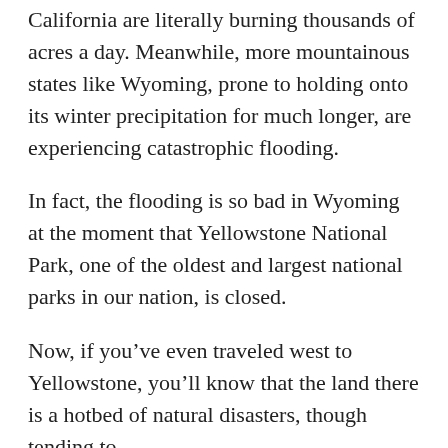California are literally burning thousands of acres a day. Meanwhile, more mountainous states like Wyoming, prone to holding onto its winter precipitation for much longer, are experiencing catastrophic flooding.
In fact, the flooding is so bad in Wyoming at the moment that Yellowstone National Park, one of the oldest and largest national parks in our nation, is closed.
Now, if you’ve even traveled west to Yellowstone, you’ll know that the land there is a hotbed of natural disasters, though tending to